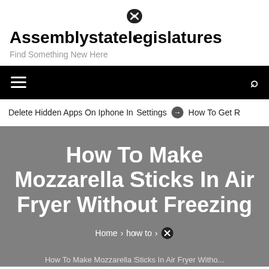Assemblystatelegislatures
Find Something New Here
Delete Hidden Apps On Iphone In Settings  ➔  How To Get R
How To Make Mozzarella Sticks In Air Fryer Without Freezing
Home > how to >
How To Make Mozzarella Sticks In Air Fryer Without...